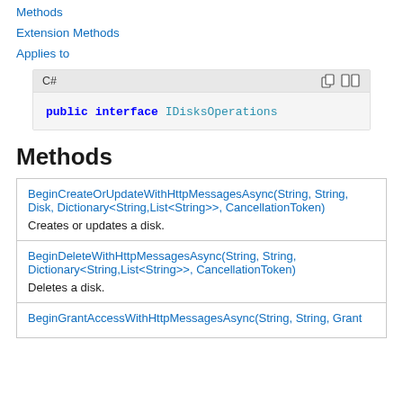Methods
Extension Methods
Applies to
[Figure (screenshot): C# code block showing: public interface IDisksOperations]
Methods
| Method | Description |
| --- | --- |
| BeginCreateOrUpdateWithHttpMessagesAsync(String, String, Disk, Dictionary<String,List<String>>, CancellationToken) | Creates or updates a disk. |
| BeginDeleteWithHttpMessagesAsync(String, String, Dictionary<String,List<String>>, CancellationToken) | Deletes a disk. |
| BeginGrantAccessWithHttpMessagesAsync(String, String, Grant |  |